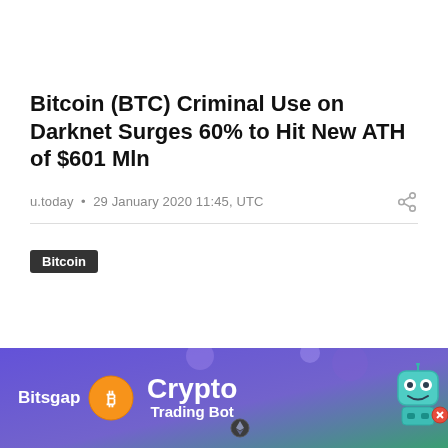Bitcoin (BTC) Criminal Use on Darknet Surges 60% to Hit New ATH of $601 Mln
u.today • 29 January 2020 11:45, UTC
Bitcoin
[Figure (other): Bitsgap Crypto Trading Bot advertisement banner with purple/green gradient background, coin icons, robot mascot, and 'TRY NOW FOR FREE 7 days trial' button]